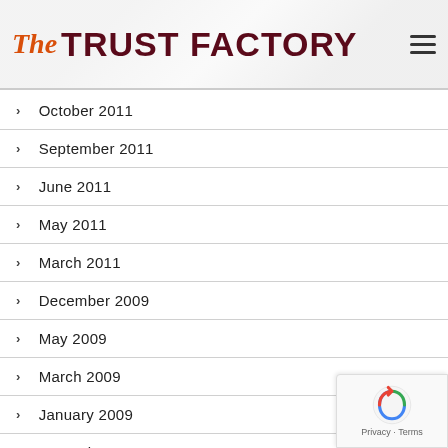The TRUST FACTORY
October 2011
September 2011
June 2011
May 2011
March 2011
December 2009
May 2009
March 2009
January 2009
December 2008
September 2008